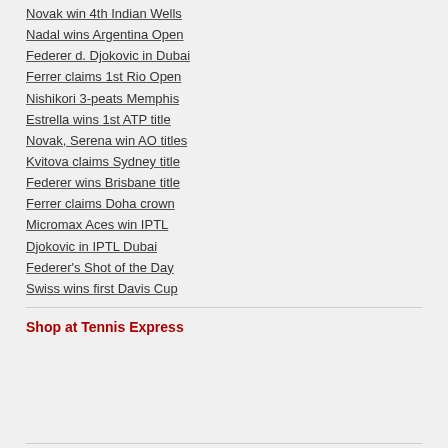Novak win 4th Indian Wells
Nadal wins Argentina Open
Federer d. Djokovic in Dubai
Ferrer claims 1st Rio Open
Nishikori 3-peats Memphis
Estrella wins 1st ATP title
Novak, Serena win AO titles
Kvitova claims Sydney title
Federer wins Brisbane title
Ferrer claims Doha crown
Micromax Aces win IPTL
Djokovic in IPTL Dubai
Federer's Shot of the Day
Swiss wins first Davis Cup
Shop at Tennis Express